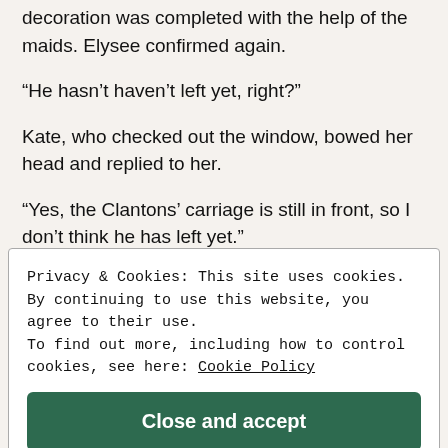decoration was completed with the help of the maids. Elysee confirmed again.
“He hasn’t haven’t left yet, right?”
Kate, who checked out the window, bowed her head and replied to her.
“Yes, the Clantons’ carriage is still in front, so I don’t think he has left yet.”
Privacy & Cookies: This site uses cookies. By continuing to use this website, you agree to their use.
To find out more, including how to control cookies, see here: Cookie Policy
Close and accept